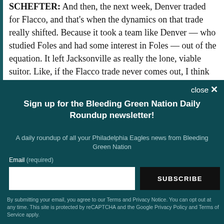SCHEFTER: And then, the next week, Denver traded for Flacco, and that’s when the dynamics on that trade really shifted. Because it took a team like Denver — who studied Foles and had some interest in Foles — out of the equation. It left Jacksonville as really the lone, viable suitor. Like, if the Flacco trade never comes out, I think there’s a decent chance
Sign up for the Bleeding Green Nation Daily Roundup newsletter!
A daily roundup of all your Philadelphia Eagles news from Bleeding Green Nation
Email (required)
SUBSCRIBE
By submitting your email, you agree to our Terms and Privacy Notice. You can opt out at any time. This site is protected by reCAPTCHA and the Google Privacy Policy and Terms of Service apply.